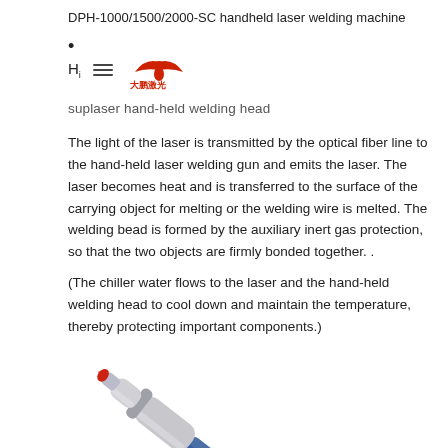DPH-1000/1500/2000-SC handheld laser welding machine
•
[Figure (logo): Logo bar with hamburger menu icon and red eagle logo with Chinese text 大鹏激光]
suplaser hand-held welding head
The light of the laser is transmitted by the optical fiber line to the hand-held laser welding gun and emits the laser. The laser becomes heat and is transferred to the surface of the carrying object for melting or the welding wire is melted. The welding bead is formed by the auxiliary inert gas protection, so that the two objects are firmly bonded together. .
(The chiller water flows to the laser and the hand-held welding head to cool down and maintain the temperature, thereby protecting important components.)
[Figure (photo): Illustration of a suplaser hand-held welding head — a silver and white cylindrical welding gun with a pointed red-tipped nozzle, angled diagonally from lower-left to upper-right, with blue cable/hose attached at the bottom.]